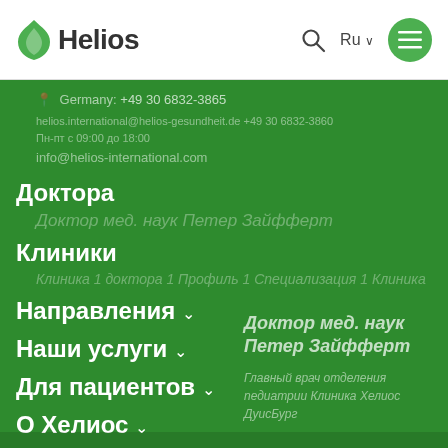Helios
Germany: +49 30 6832-3865
helios.international@helios-gesundheit.de +49 30 6832-3860
Пн-пт с 09:00 до 18:00
info@helios-international.com
Доктора
Доктор мед. наук Петер Зайфферт
Клиники
Клиника 1 Доктор 1 Профиль 1 Специализация 1 Клиника 1
Направления ∨
Наши услуги ∨
Для пациентов ∨
О Хелиос ∨
Доктор мед. наук Петер Зайфферт
Главный врач отделения педиатрии Клиника Хелиос ДуисБург